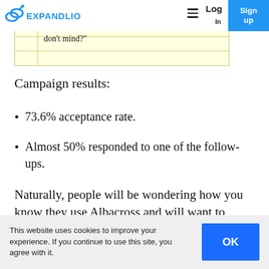Expandlio | Log | Sign up
[Figure (screenshot): Notepad-style yellow background box with text: 'by sharing their thoughts {first_name}! I'd love to get your feedback on it, don't mind?']
Campaign results:
73.6% acceptance rate.
Almost 50% responded to one of the follow-ups.
Naturally, people will be wondering how you know they use Albacross and will want to
This website uses cookies to improve your experience. If you continue to use this site, you agree with it.